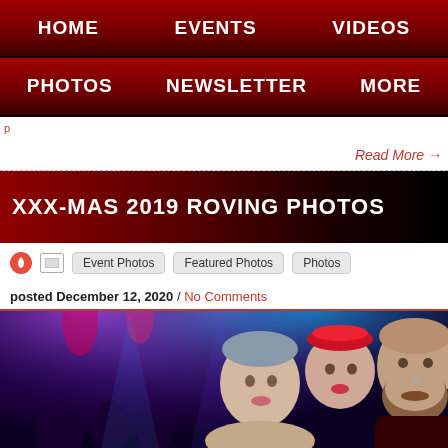HOME   EVENTS   VIDEOS
PHOTOS   NEWSLETTER   MORE
Read More →
XXX-MAS 2019 ROVING PHOTOS
Event Photos   Featured Photos   Photos
posted December 12, 2020 / No Comments
[Figure (photo): Party scene with colorful stage lighting — blue and purple tones, crowd in background. In the foreground: a woman with shaved/short blue-tinted hair and another woman with red glittery headwear, and a bald bearded man on the right.]